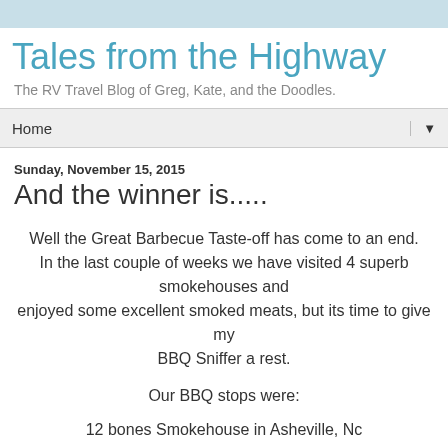Tales from the Highway
The RV Travel Blog of Greg, Kate, and the Doodles.
Home
Sunday, November 15, 2015
And the winner is.....
Well the Great Barbecue Taste-off has come to an end. In the last couple of weeks we have visited 4 superb smokehouses and enjoyed some excellent smoked meats, but its time to give my BBQ Sniffer a rest.
Our BBQ stops were:
12 bones Smokehouse in Asheville, Nc